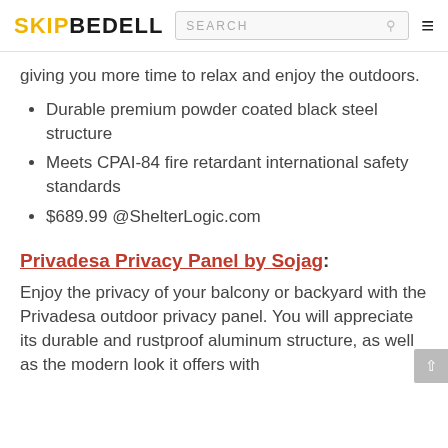SKIPBEDELL | SEARCH
giving you more time to relax and enjoy the outdoors.
Durable premium powder coated black steel structure
Meets CPAI-84 fire retardant international safety standards
$689.99 @ShelterLogic.com
Privadesa Privacy Panel by Sojag:
Enjoy the privacy of your balcony or backyard with the Privadesa outdoor privacy panel. You will appreciate its durable and rustproof aluminum structure, as well as the modern look it offers with